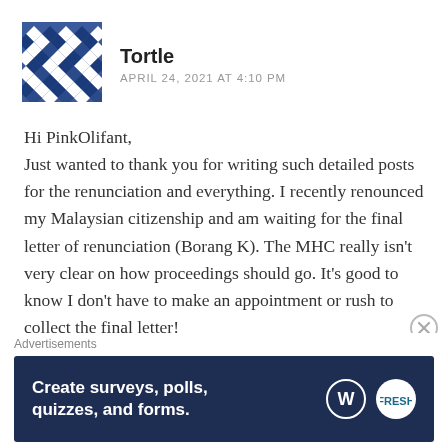[Figure (illustration): Blue and white geometric pattern avatar for user Tortle]
Tortle
APRIL 24, 2021 AT 4:10 PM
Hi PinkOlifant,
Just wanted to thank you for writing such detailed posts for the renunciation and everything. I recently renounced my Malaysian citizenship and am waiting for the final letter of renunciation (Borang K). The MHC really isn't very clear on how proceedings should go. It's good to know I don't have to make an appointment or rush to collect the final letter!
Have a nice day!
Advertisements
[Figure (infographic): Dark navy blue advertisement banner: 'Create surveys, polls, quizzes, and forms.' with WordPress and SurveyMonkey logos]